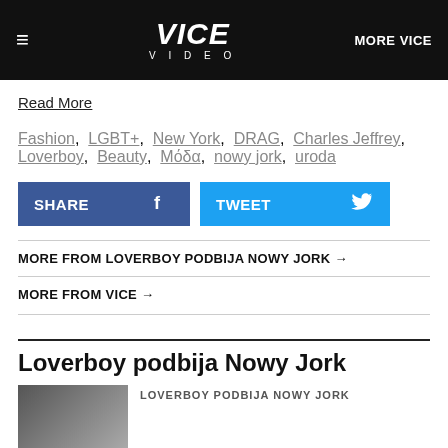≡  VICE VIDEO  MORE VICE
Read More
Fashion, LGBT+, New York, DRAG, Charles Jeffrey, Loverboy, Beauty, Μόδα, nowy jork, uroda
SHARE   TWEET
MORE FROM LOVERBOY PODBIJA NOWY JORK →
MORE FROM VICE →
Loverboy podbija Nowy Jork
LOVERBOY PODBIJA NOWY JORK